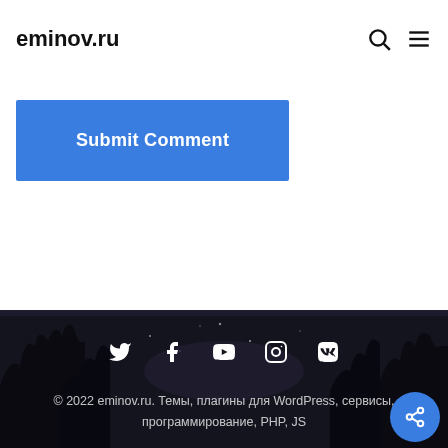eminov.ru
Submit Comment
[Figure (screenshot): Dark night sky background with silhouetted trees, social media icons (Twitter, Facebook, YouTube, Instagram, VK), footer copyright text, and a blue share button]
© 2022 eminov.ru. Темы, плагины для WordPress, сервисы, программирование, PHP, JS